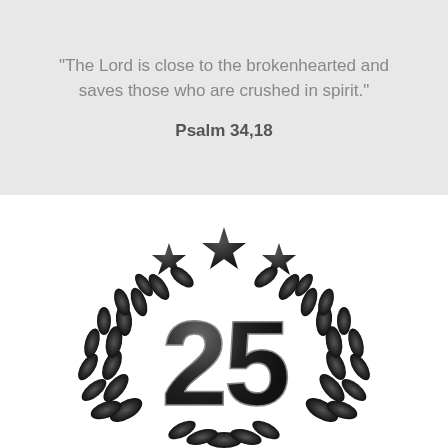"The Lord is close to the brokenhearted and saves those who are crushed in spirit."
Psalm 34,18
[Figure (illustration): A decorative emblem featuring a laurel wreath in dark/black metallic style with the number 25 in the center, and three stars at the top of the wreath.]